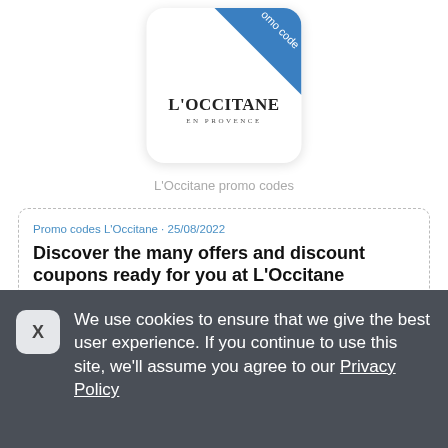[Figure (logo): L'Occitane En Provence logo card with blue diagonal promo code banner in top-right corner]
L'Occitane promo codes
Promo codes L'Occitane • 25/08/2022
Discover the many offers and discount coupons ready for you at L'Occitane
50% Off Cleanser on 60 Orders Don't miss this fantastic promotion. Enjoy this wonderful promotion from L'Occitane. Enter code at checkout for discount.
We use cookies to ensure that we give the best user experience. If you continue to use this site, we'll assume you agree to our Privacy Policy